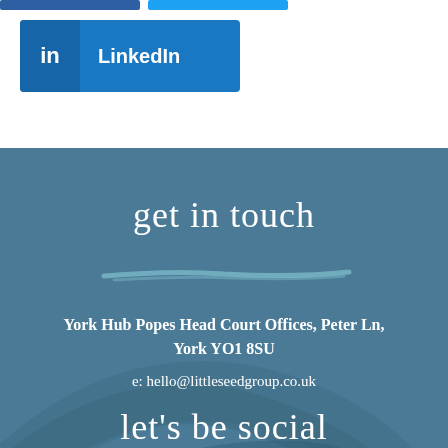[Figure (logo): LinkedIn button with blue background, LinkedIn 'in' icon on left side, white text 'LinkedIn' on right]
get in touch
York Hub Popes Head Court Offices, Peter Ln, York YO1 8SU
e: hello@littleseedgroup.co.uk
let's be social